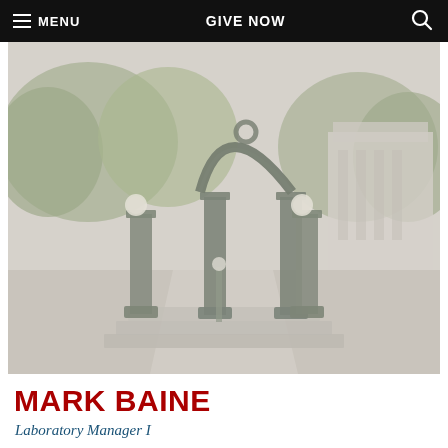≡ MENU   GIVE NOW   🔍
[Figure (photo): Photograph of the University of Georgia arch landmark — a large ornamental iron arch with three columns and globe lamps, surrounded by trees, walkway, and a neoclassical building in the background. Image has a faded/washed overlay.]
MARK BAINE
Laboratory Manager I